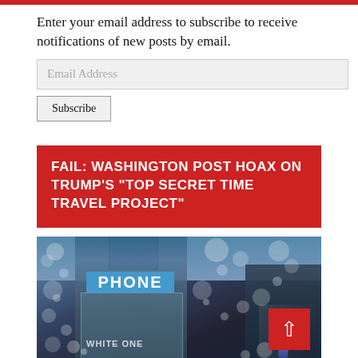Enter your email address to subscribe to receive notifications of new posts by email.
FAIL: WASHINGTON POST HOAX ON TRUMP'S "TOP SECRET TIME TRAVEL PROJECT"
[Figure (photo): Photo of a man in a suit near a phone booth with bokeh light effects overlay and text 'WHITE ONE' visible]